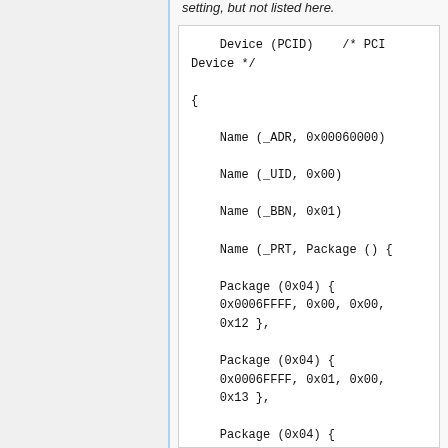setting, but not listed here.
Device (PCID)    /* PCI Device */
                                {

    Name (_ADR, 0x00060000)

    Name (_UID, 0x00)

    Name (_BBN, 0x01)

    Name (_PRT, Package () {

    Package (0x04) {
    0x0006FFFF, 0x00, 0x00,
    0x12 },

    Package (0x04) {
    0x0006FFFF, 0x01, 0x00,
    0x13 },

    Package (0x04) {
    0x0006FFFF, 0x02, 0x00,
    0x10 },